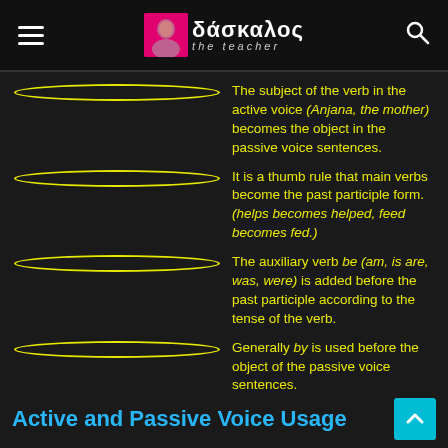δάσκαλος the teacher
The subject of the verb in the active voice (Anjana, the mother) becomes the object in the passive voice sentences.
It is a thumb rule that main verbs become the past participle form. (helps becomes helped, feed becomes fed.)
The auxiliary verb be (am, is are, was, were) is added before the past participle according to the tense of the verb.
Generally by is used before the object of the passive voice sentences.
Active and Passive Voice Usage